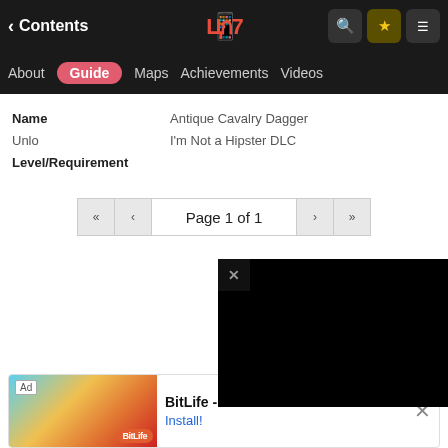Contents
About  Guide  Maps  Achievements  Videos
Name
Unlock
Level/Requirement
Antique Cavalry Dagger
I'm Not a Hipster DLC
Page 1 of 1
[Figure (screenshot): Black advertisement overlay box with close (X) button in upper left]
[Figure (screenshot): Bottom banner ad for BitLife - Life Simulator with Install button and close X]